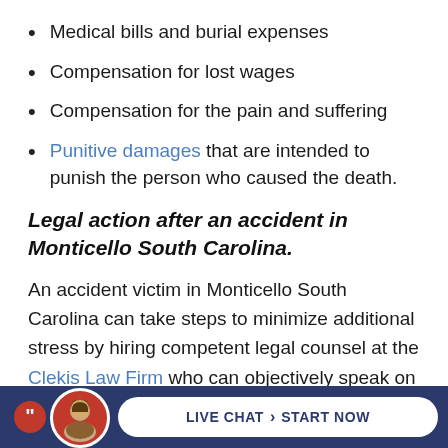Medical bills and burial expenses
Compensation for lost wages
Compensation for the pain and suffering
Punitive damages that are intended to punish the person who caused the death.
Legal action after an accident in Monticello South Carolina.
An accident victim in Monticello South Carolina can take steps to minimize additional stress by hiring competent legal counsel at the Clekis Law Firm who can objectively speak on a victim's behalf in a courtroom, or against an insurance